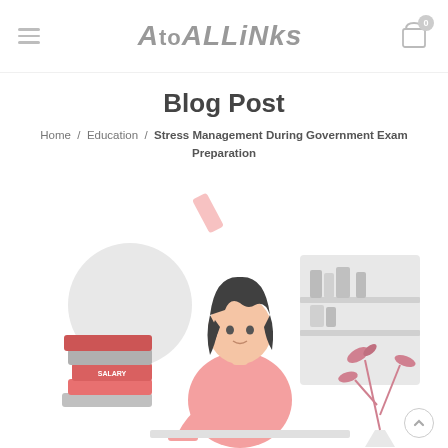AtoALLiNks
Blog Post
Home / Education / Stress Management During Government Exam Preparation
[Figure (illustration): Illustration of a student (woman with dark curly hair, wearing pink top) studying at a desk, surrounded by stacked books, a circular shape, a bookshelf, and a plant decoration in pink/grey tones]